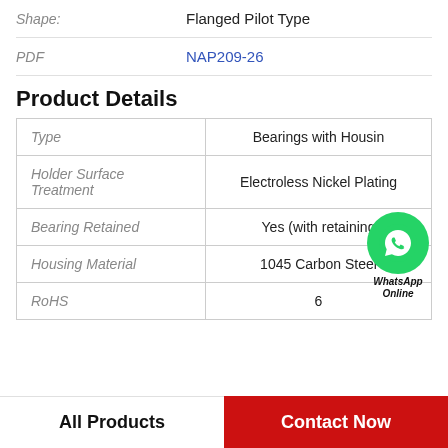|  |  |
| --- | --- |
| Shape: | Flanged Pilot Type |
| PDF | NAP209-26 |
Product Details
|  |  |
| --- | --- |
| Type | Bearings with Housing |
| Holder Surface Treatment | Electroless Nickel Plating |
| Bearing Retained | Yes (with retaining |
| Housing Material | 1045 Carbon Steel |
| RoHS | 6 |
All Products
Contact Now